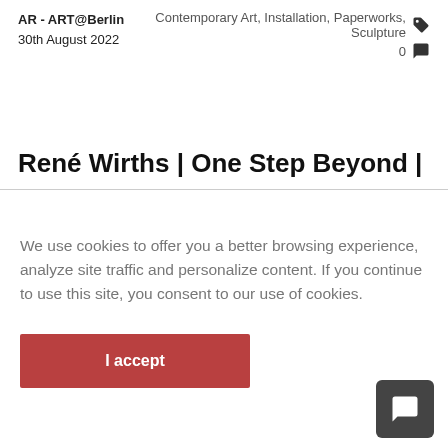AR - ART@Berlin
30th August 2022
Contemporary Art, Installation, Paperworks, Sculpture
0
René Wirths | One Step Beyond |
We use cookies to offer you a better browsing experience, analyze site traffic and personalize content. If you continue to use this site, you consent to our use of cookies.
I accept